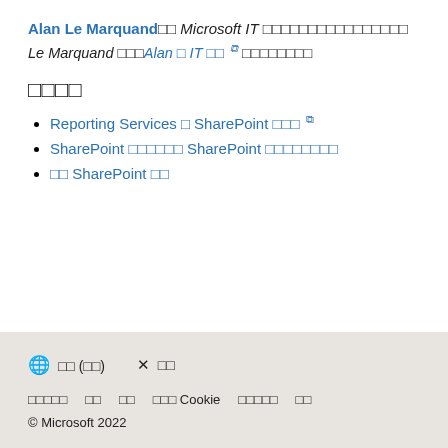Alan Le Marquand□□ Microsoft IT □□□□□□□□□□□□□□□□ Le Marquand □□□Alan □ IT □□☑ □□□□□□□□
□□□□
Reporting Services □ SharePoint □□□☑
SharePoint □□□□□□ SharePoint □□□□□□□□
□□ SharePoint □□
🌐 □□ (□□)  ✕ □□  □□□□□  □□  □□  □□□ Cookie  □□□□□  □□  © Microsoft 2022